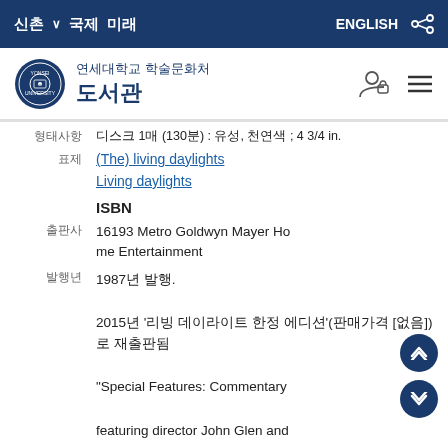신촌 ∨ 국제 미래  ENGLISH [share]
연세대학교 학술문화처 도서관
형태사항  디스크 1매 (130분) : 유성, 천연색 ; 4 3/4 in.
표제 (The) living daylights
Living daylights
ISBN
출판사  16193 Metro Goldwyn Mayer Home Entertainment
발행년  1987년 발행.
2015년 '리빙 데이라이트 한정 에디션'(판매가격 [없음])로 재출판됨
"Special Features: Commentary featuring director John Glen and members of the cast and crew, Deleted scenes, Happy annivers